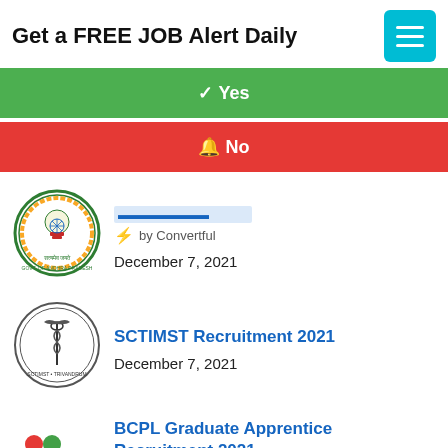Get a FREE JOB Alert Daily
✓ Yes
🔔 No
[Figure (logo): Government of Andhra Pradesh circular seal/emblem in green and red]
⚡ by Convertful
December 7, 2021
[Figure (logo): SCTIMST circular institutional logo — Sree Chitra Tirunal Institute for Medical Sciences and Technology, Trivandrum]
SCTIMST Recruitment 2021
December 7, 2021
[Figure (logo): BCPL logo with colorful dots and green swoosh]
BCPL Graduate Apprentice Recruitment 2021